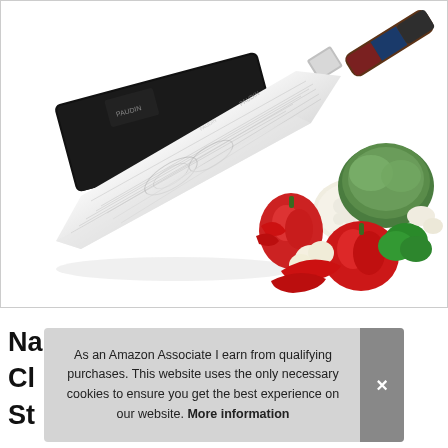[Figure (photo): A PAUDIN brand nakiri/cleaver kitchen knife with Damascus-style blade pattern, shown diagonally over a black box packaging. In the lower right, a colorful arrangement of fresh vegetables including red bell peppers, cauliflower, cabbage, garlic, and chili peppers.]
Na
Cl
St
As an Amazon Associate I earn from qualifying purchases. This website uses the only necessary cookies to ensure you get the best experience on our website. More information